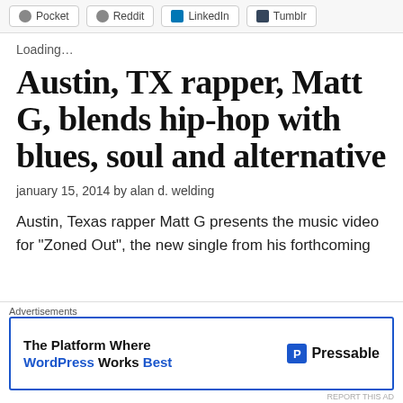Pocket  Reddit  LinkedIn  Tumblr
Loading…
Austin, TX rapper, Matt G, blends hip-hop with blues, soul and alternative
january 15, 2014 by alan d. welding
Austin, Texas rapper Matt G presents the music video for "Zoned Out", the new single from his forthcoming
Advertisements  The Platform Where WordPress Works Best  Pressable